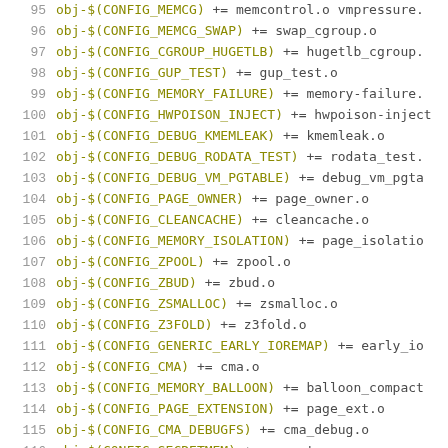95  obj-$(CONFIG_MEMCG) += memcontrol.o vmpressure.o
96  obj-$(CONFIG_MEMCG_SWAP) += swap_cgroup.o
97  obj-$(CONFIG_CGROUP_HUGETLB) += hugetlb_cgroup.o
98  obj-$(CONFIG_GUP_TEST) += gup_test.o
99  obj-$(CONFIG_MEMORY_FAILURE) += memory-failure.o
100 obj-$(CONFIG_HWPOISON_INJECT) += hwpoison-inject.o
101 obj-$(CONFIG_DEBUG_KMEMLEAK) += kmemleak.o
102 obj-$(CONFIG_DEBUG_RODATA_TEST) += rodata_test.o
103 obj-$(CONFIG_DEBUG_VM_PGTABLE) += debug_vm_pgtable.o
104 obj-$(CONFIG_PAGE_OWNER) += page_owner.o
105 obj-$(CONFIG_CLEANCACHE) += cleancache.o
106 obj-$(CONFIG_MEMORY_ISOLATION) += page_isolation.o
107 obj-$(CONFIG_ZPOOL)      += zpool.o
108 obj-$(CONFIG_ZBUD)       += zbud.o
109 obj-$(CONFIG_ZSMALLOC)   += zsmalloc.o
110 obj-$(CONFIG_Z3FOLD)     += z3fold.o
111 obj-$(CONFIG_GENERIC_EARLY_IOREMAP) += early_ioremap.o
112 obj-$(CONFIG_CMA)        += cma.o
113 obj-$(CONFIG_MEMORY_BALLOON) += balloon_compaction.o
114 obj-$(CONFIG_PAGE_EXTENSION) += page_ext.o
115 obj-$(CONFIG_CMA_DEBUGFS) += cma_debug.o
116 obj-$(CONFIG_SECRETMEM) += secretmem.o